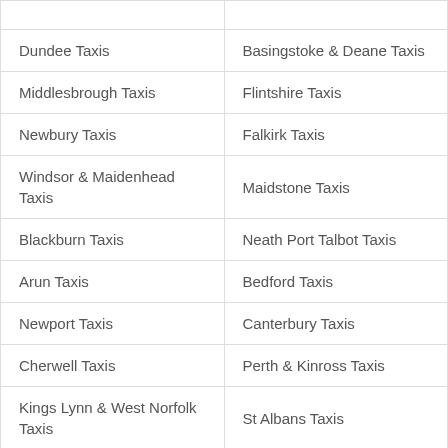| Column 1 | Column 2 |
| --- | --- |
|  |  |
| Dundee Taxis | Basingstoke & Deane Taxis |
| Middlesbrough Taxis | Flintshire Taxis |
| Newbury Taxis | Falkirk Taxis |
| Windsor & Maidenhead Taxis | Maidstone Taxis |
| Blackburn Taxis | Neath Port Talbot Taxis |
| Arun Taxis | Bedford Taxis |
| Newport Taxis | Canterbury Taxis |
| Cherwell Taxis | Perth & Kinross Taxis |
| Kings Lynn & West Norfolk Taxis | St Albans Taxis |
| Braintree Taxis | Norwich Taxis |
| Mid Sussex Taxis | South Oxfordshire Taxis |
| Stafford Taxis | Powys Taxis |